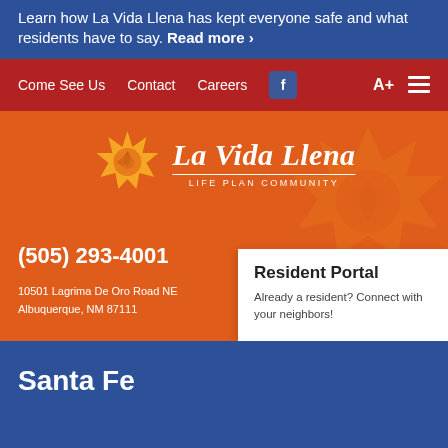Learn how La Vida Llena has kept everyone safe and what residents have to say. Read more ›
Come See Us  Contact  Careers  f  A+  ≡
[Figure (logo): La Vida Llena Life Plan Community logo with sun icon on orange background, phone number (505) 293-4001, address 10501 Lagrima De Oro Road NE, Albuquerque, NM 87111, and Resident Portal popup]
Santa Fe